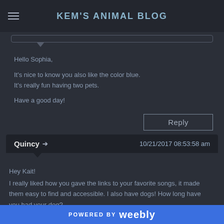KEM'S ANIMAL BLOG
Hello Sophia,

It's nice to know you also like the color blue.
It's really fun having two pets.

Have a good day!
Reply
Quincy → 10/21/2017 08:53:58 am
Hey Kait!
I really liked how you gave the links to your favorite songs, it made them easy to find and accessible. I also have dogs! How long have you had your dog?
POWERED BY weebly